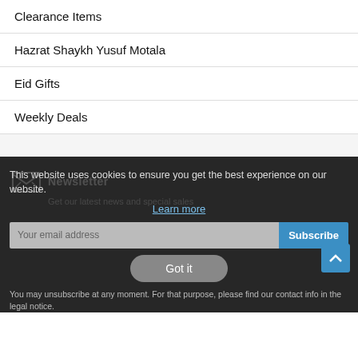Clearance Items
Hazrat Shaykh Yusuf Motala
Eid Gifts
Weekly Deals
Newsletter
Get our latest news and special sales
This website uses cookies to ensure you get the best experience on our website.
Learn more
Your email address
Subscribe
Got it
You may unsubscribe at any moment. For that purpose, please find our contact info in the legal notice.